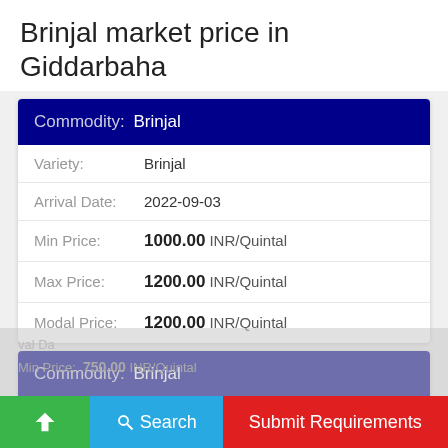Brinjal market price in Giddarbaha
| Field | Value |
| --- | --- |
| Commodity: | Brinjal |
| Variety: | Brinjal |
| Arrival Date: | 2022-09-03 |
| Min Price: | 1000.00 INR/Quintal |
| Max Price: | 1200.00 INR/Quintal |
| Modal Price: | 1200.00 INR/Quintal |
| Field | Value |
| --- | --- |
| Commodity: | Brinjal |
| Variety: | Brinjal |